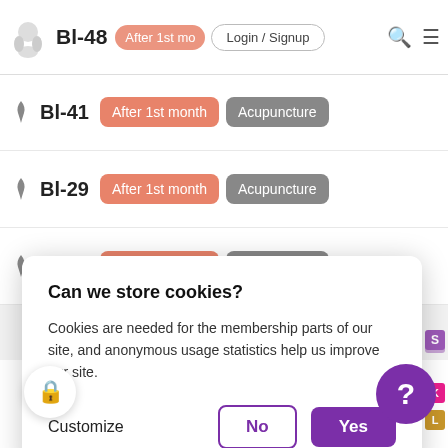Bl-48 | After 1st month | Login / Signup
| Icon | Point | Timing | Category |
| --- | --- | --- | --- |
| acupuncture icon | Bl-41 | After 1st month | Acupuncture |
| acupuncture icon | Bl-29 | After 1st month | Acupuncture |
| acupuncture icon | Bl-24 | After 1st month | Acupuncture |
|  | 23 | After 1st month | Acupuncture |
| pin icon | Bl-26 | After 1st month | Acupuncture |
Can we store cookies?
Cookies are needed for the membership parts of our site, and anonymous usage statistics help us improve our site.
Customize
No
Yes